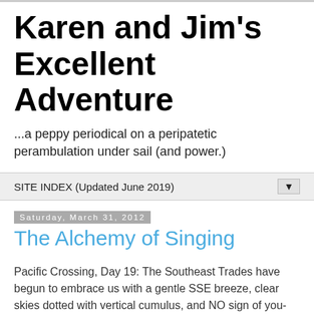Karen and Jim's Excellent Adventure
...a peppy periodical on a peripatetic perambulation under sail (and power.)
SITE INDEX (Updated June 2019)
Saturday, March 31, 2012
The Alchemy of Singing
Pacific Crossing, Day 19: The Southeast Trades have begun to embrace us with a gentle SSE breeze, clear skies dotted with vertical cumulus, and NO sign of you-know-what. Although it's bad luck to be superstitious, we're not mentioning that weather circus until well away from its hot clammy grip. Although it's been slow progress beating to windward south in a light breeze, the sea has calmed a lot